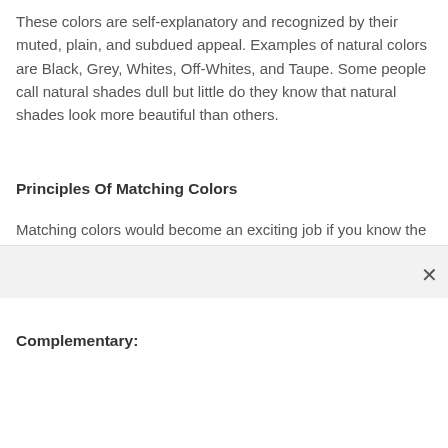These colors are self-explanatory and recognized by their muted, plain, and subdued appeal. Examples of natural colors are Black, Grey, Whites, Off-Whites, and Taupe. Some people call natural shades dull but little do they know that natural shades look more beautiful than others.
Principles Of Matching Colors
Matching colors would become an exciting job if you know the principles. Before you start matching colors, you should know what makes two colors compatible or contrast.
Complementary: